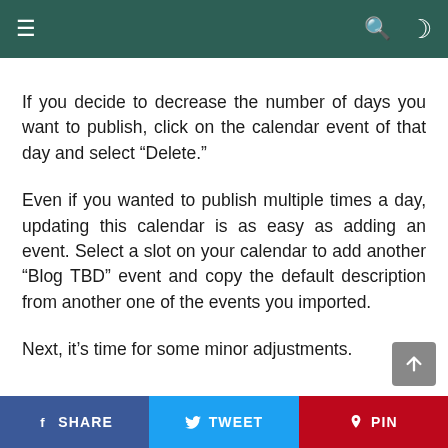If you decide to decrease the number of days you want to publish, click on the calendar event of that day and select “Delete.”
Even if you wanted to publish multiple times a day, updating this calendar is as easy as adding an event. Select a slot on your calendar to add another “Blog TBD” event and copy the default description from another one of the events you imported.
Next, it’s time for some minor adjustments.
SHARE   TWEET   PIN